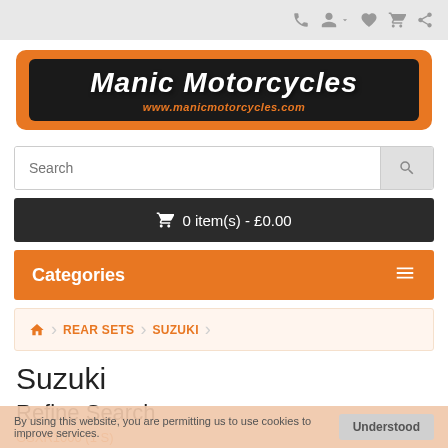Navigation icons: phone, account, wishlist, cart, share
[Figure (logo): Manic Motorcycles logo - orange rounded rectangle with dark background, white italic text 'Manic Motorcycles' and orange URL www.manicmotorcycles.com]
Search
0 item(s) - £0.00
Categories
REAR SETS > Suzuki
Suzuki
Refine Search
By using this website, you are permitting us to use cookies to improve services.
Understood
GSXR1000 (1 S)